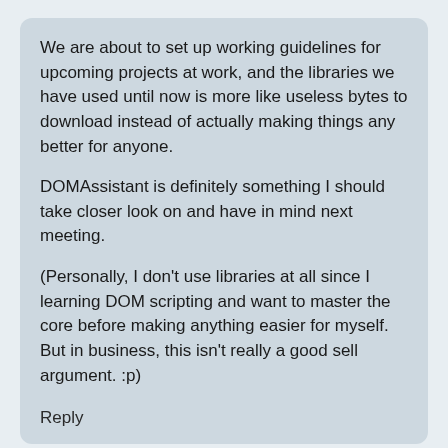We are about to set up working guidelines for upcoming projects at work, and the libraries we have used until now is more like useless bytes to download instead of actually making things any better for anyone.
DOMAssistant is definitely something I should take closer look on and have in mind next meeting.
(Personally, I don't use libraries at all since I learning DOM scripting and want to master the core before making anything easier for myself. But in business, this isn't really a good sell argument. :p)
Reply
Robert Nyman December 19, 2007 at 13:11